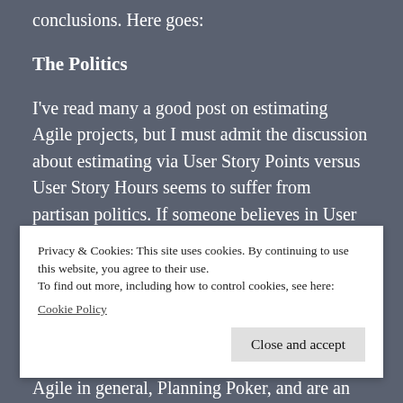read the entire post before jumping to conclusions. Here goes:
The Politics
I've read many a good post on estimating Agile projects, but I must admit the discussion about estimating via User Story Points versus User Story Hours seems to suffer from partisan politics. If someone believes in User Story Points, they paint the only alternative as a
Privacy & Cookies: This site uses cookies. By continuing to use this website, you agree to their use.
To find out more, including how to control cookies, see here:
Cookie Policy
Close and accept
Agile in general, Planning Poker, and are an